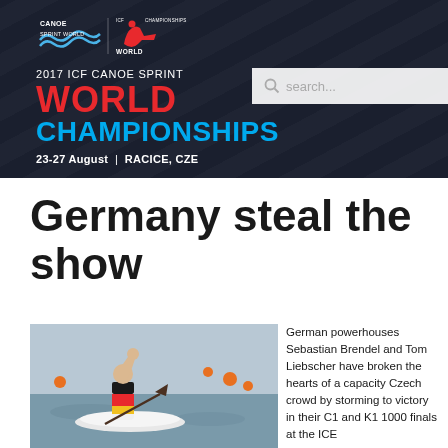2017 ICF CANOE SPRINT WORLD CHAMPIONSHIPS | 23-27 August | RACICE, CZE
Germany steal the show
[Figure (photo): Athlete in a canoe celebrating victory with fist raised, on water with orange buoys visible in background]
German powerhouses Sebastian Brendel and Tom Liebscher have broken the hearts of a capacity Czech crowd by storming to victory in their C1 and K1 1000 finals at the ICE